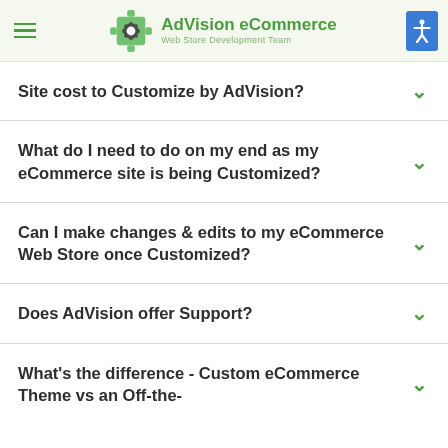AdVision eCommerce — Web Store Development Team
Site cost to Customize by AdVision?
What do I need to do on my end as my eCommerce site is being Customized?
Can I make changes & edits to my eCommerce Web Store once Customized?
Does AdVision offer Support?
What's the difference - Custom eCommerce Theme vs an Off-the-